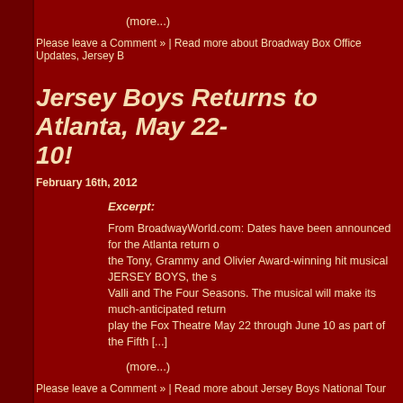(more...)
Please leave a Comment » | Read more about Broadway Box Office Updates, Jersey B
Jersey Boys Returns to Atlanta, May 22-10!
February 16th, 2012
Excerpt:
From BroadwayWorld.com: Dates have been announced for the Atlanta return of the Tony, Grammy and Olivier Award-winning hit musical JERSEY BOYS, the st Valli and The Four Seasons. The musical will make its much-anticipated return play the Fox Theatre May 22 through June 10 as part of the Fifth [...]
(more...)
Please leave a Comment » | Read more about Jersey Boys National Tour
Feb
Jersey Boys Heads to Brisbane in July!
February 15th, 2012
Excerpt: